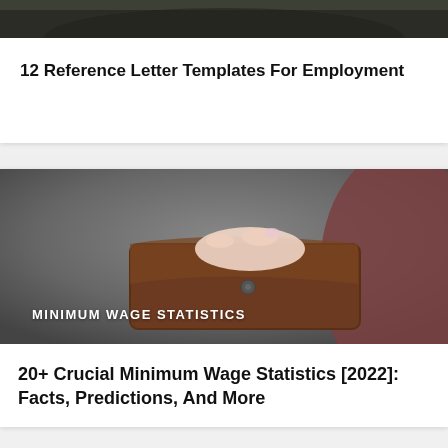[Figure (photo): Partial view of a person's torso and hands, cropped at top of page, dark clothing background]
12 Reference Letter Templates For Employment
[Figure (photo): Close-up of a hand opening a brown leather wallet, gray background, with overlay text 'MINIMUM WAGE STATISTICS']
20+ Crucial Minimum Wage Statistics [2022]: Facts, Predictions, And More